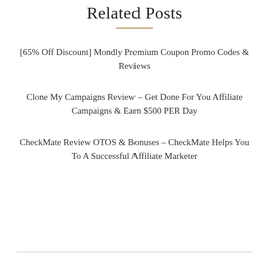Related Posts
[65% Off Discount] Mondly Premium Coupon Promo Codes & Reviews
Clone My Campaigns Review – Get Done For You Affiliate Campaigns & Earn $500 PER Day
CheckMate Review OTOS & Bonuses – CheckMate Helps You To A Successful Affiliate Marketer